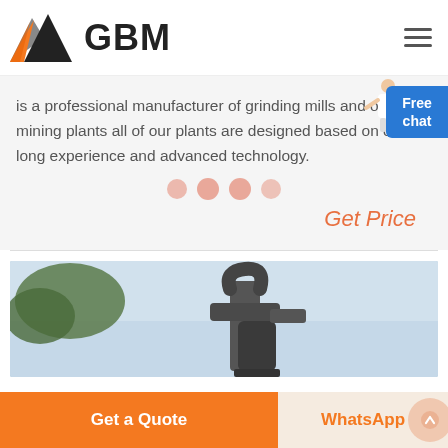[Figure (logo): GBM company logo — mountain/triangle shape in orange, grey and black with bold text GBM]
is a professional manufacturer of grinding mills and other mining plants all of our plants are designed based on our long experience and advanced technology.
Get Price
[Figure (photo): Outdoor photo of industrial mining equipment, large pipe/cyclone machinery against a sky backdrop with trees visible]
Get a Quote
WhatsApp